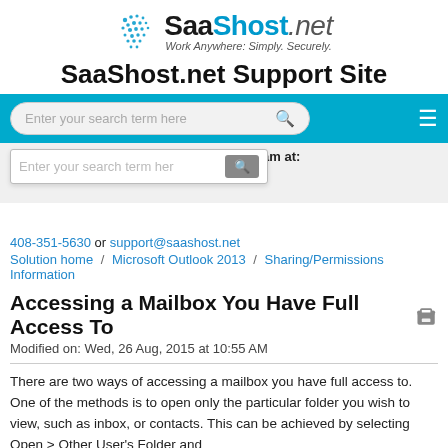[Figure (logo): SaaShost.net logo with globe icon and tagline 'Work Anywhere: Simply. Securely.']
SaaShost.net Support Site
[Figure (screenshot): Search bar UI in blue navigation bar with hamburger menu]
Need more Help? Contact our Support team at:
[Figure (screenshot): Dropdown search box overlay]
408-351-5630 or support@saashost.net
Solution home / Microsoft Outlook 2013 / Sharing/Permissions Information
Accessing a Mailbox You Have Full Access To
Modified on: Wed, 26 Aug, 2015 at 10:55 AM
There are two ways of accessing a mailbox you have full access to. One of the methods is to open only the particular folder you wish to view, such as inbox, or contacts. This can be achieved by selecting Open > Other User's Folder and